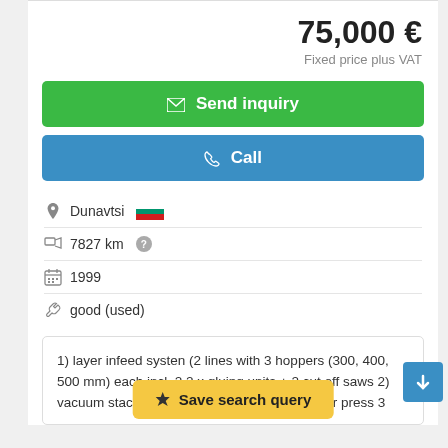75,000 €
Fixed price plus VAT
✉ Send inquiry
✆ Call
Dunavtsi [Bulgaria flag] 7827 km ?
1999
good (used)
1) layer infeed systen (2 lines with 3 hoppers (300, 400, 500 mm) each incl. 2 2 x gluing units + 2 cut off saws 2) vacuum stacking unit + infeed transport belt for press 3
Save search query